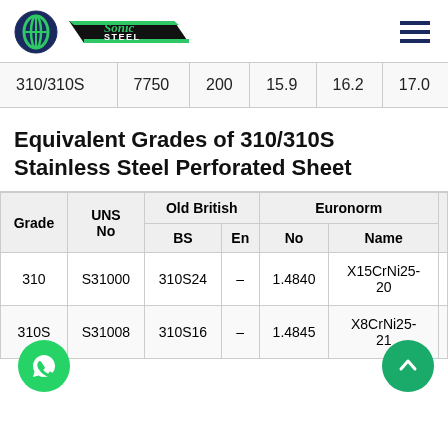[Figure (logo): Sonic Steel company logo with circular emblem and diagonal parallelogram banner]
| Grade | Value1 | Value2 | Val3 | Val4 | Val5 |
| --- | --- | --- | --- | --- | --- |
| 310/310S | 7750 | 200 | 15.9 | 16.2 | 17.0 |
Equivalent Grades of 310/310S Stainless Steel Perforated Sheet
| Grade | UNS No | Old British BS | Old British En | Euronorm No | Euronorm Name |
| --- | --- | --- | --- | --- | --- |
| 310 | S31000 | 310S24 | – | 1.4840 | X15CrNi25-20 |
| 310S | S31008 | 310S16 | – | 1.4845 | X8CrNi25-21 |